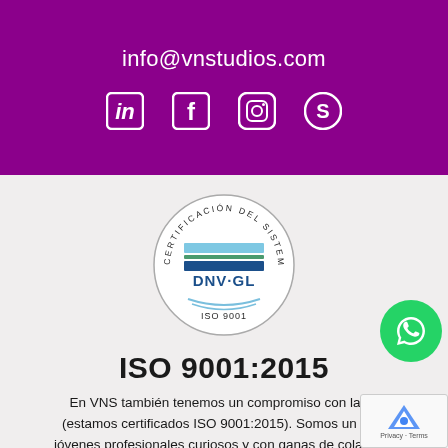info@vnstudios.com
[Figure (infographic): Social media icons: LinkedIn, Facebook, Instagram, Skype in white on purple background]
[Figure (logo): DNV GL ISO 9001 certification seal - circular stamp with text CERTIFICACIÓN DEL SISTEMA DE CALIDAD around the border, DNV·GL logo in center, ISO 9001 at bottom]
ISO 9001:2015
En VNS también tenemos un compromiso con la ca... (estamos certificados ISO 9001:2015). Somos un equi... jóvenes profesionales curiosos y con ganas de colaborar con